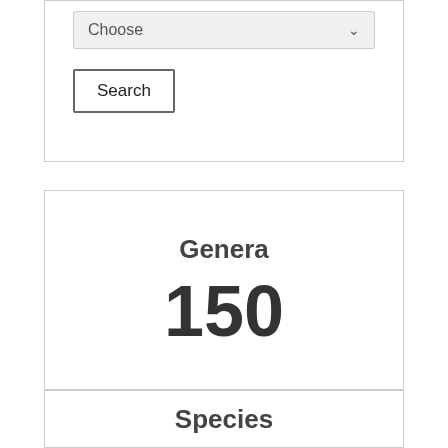[Figure (screenshot): A dropdown select input with placeholder text 'Choose' and a chevron arrow, followed by a 'Search' button below it, all within a bordered box.]
Genera
150
Species